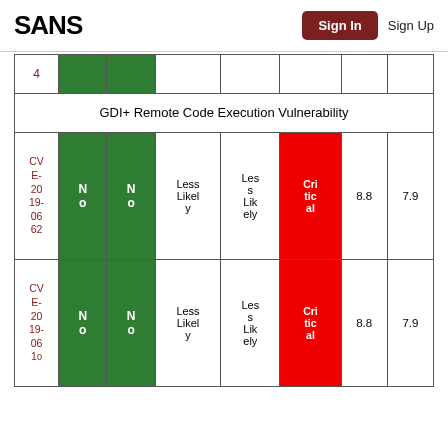SANS  Sign In  Sign Up
| # | Col2 | Col3 | Col4 | Col5 | Col6 | Col7 | Col8 |
| --- | --- | --- | --- | --- | --- | --- | --- |
| 4 | green | green |  |  |  |  |  |
| GDI+ Remote Code Execution Vulnerability (merged) |
| CVE-2019-0662 | No | No | Less Likely | Less Likely | Critical | 8.8 | 7.9 |
| CVE-2019-06... | No | No | Less Likely | Less Likely | Critical | 8.8 | 7.9 |